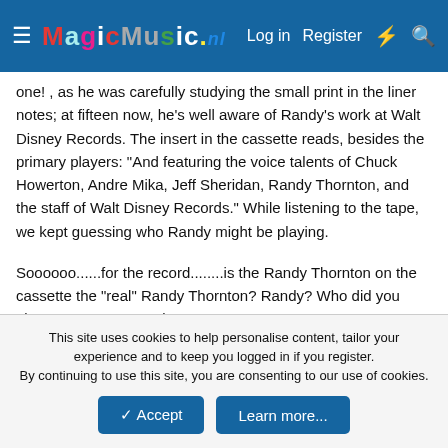MagicMusic.nl — Log in | Register
one! , as he was carefully studying the small print in the liner notes; at fifteen now, he's well aware of Randy's work at Walt Disney Records. The insert in the cassette reads, besides the primary players: "And featuring the voice talents of Chuck Howerton, Andre Mika, Jeff Sheridan, Randy Thornton, and the staff of Walt Disney Records." While listening to the tape, we kept guessing who Randy might be playing.
Soooooo......for the record........is the Randy Thornton on the cassette the "real" Randy Thornton? Randy? Who did you play-- my son's got to know!
Michael
LemSiddons
This site uses cookies to help personalise content, tailor your experience and to keep you logged in if you register.
By continuing to use this site, you are consenting to our use of cookies.